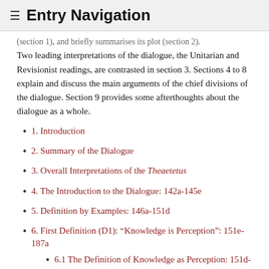≡ Entry Navigation
(section 1), and briefly summarises its plot (section 2). Two leading interpretations of the dialogue, the Unitarian and Revisionist readings, are contrasted in section 3. Sections 4 to 8 explain and discuss the main arguments of the chief divisions of the dialogue. Section 9 provides some afterthoughts about the dialogue as a whole.
1. Introduction
2. Summary of the Dialogue
3. Overall Interpretations of the Theaetetus
4. The Introduction to the Dialogue: 142a-145e
5. Definition by Examples: 146a-151d
6. First Definition (D1): “Knowledge is Perception”: 151e-187a
6.1 The Definition of Knowledge as Perception: 151d-e
6.2 The “Cold Wind” Argument; and the Theory of Flux: 152a-160e